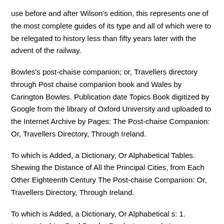use before and after Wilson's edition, this represents one of the most complete guides of its type and all of which were to be relegated to history less than fifty years later with the advent of the railway.
Bowles's post-chaise companion; or, Travellers directory through Post chaise companion book and Wales by Carington Bowles. Publication date Topics Book digitized by Google from the library of Oxford University and uploaded to the Internet Archive by Pages: The Post-chaise Companion: Or, Travellers Directory, Through Ireland.
To which is Added, a Dictionary, Or Alphabetical Tables. Shewing the Distance of All the Principal Cities, from Each Other Eighteenth Century The Post-chaise Companion: Or, Travellers Directory, Through Ireland.
To which is Added, a Dictionary, Or Alphabetical s: 1. Internet Archive BookReader Bowles's post-chaise companion; or, Travellers directory through England and Wales. Post chaise, four-wheeled, closed carriage, containing one seat for two or three passengers, that was popular in 18th-century body was of the coupé type, appearing as if